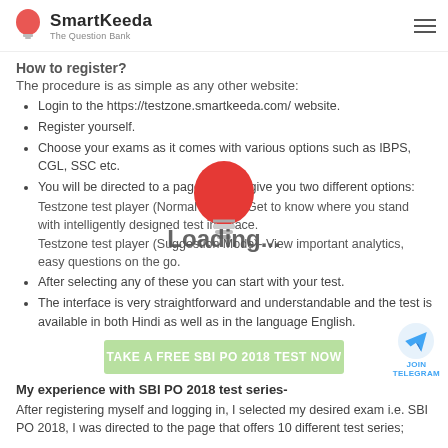SmartKeeda – The Question Bank
How to register?
The procedure is as simple as any other website:
Login to the https://testzone.smartkeeda.com/ website.
Register yourself.
Choose your exams as it comes with various options such as IBPS, CGL, SSC etc.
You will be directed to a page that will give you two different options:
Testzone test player (Normal Mode) - Get to know where you stand with intelligently designed test interface.
Testzone test player (Suggestion Mode)- View important analytics, easy questions on the go.
After selecting any of these you can start with your test.
The interface is very straightforward and understandable and the test is available in both Hindi as well as in the language English.
[Figure (illustration): Loading overlay with red lightbulb icon centered on page]
TAKE A FREE SBI PO 2018 TEST NOW
My experience with SBI PO 2018 test series-
After registering myself and logging in, I selected my desired exam i.e. SBI PO 2018, I was directed to the page that offers 10 different test series;